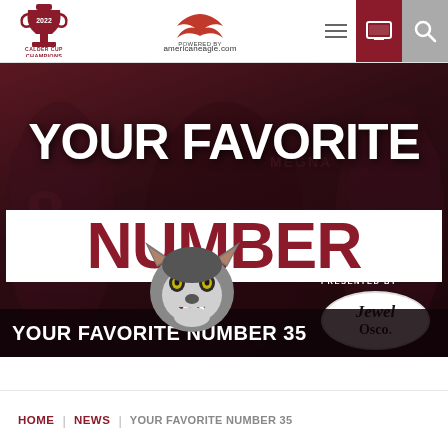Chicago Wolves - 2022 Calder Cup Champions | POWERED BY americaneagle.com
[Figure (screenshot): Hero banner image for the Chicago Wolves website. Large text reads YOUR FAVORITE in white, then NUMBER in dark red on white banner, with a wolf mascot logo. Presented by Jewel Osco. Background shows hockey players in dark maroon jerseys. Calder Cup Champions 2022 badge in top left.]
YOUR FAVORITE NUMBER 35
HOME | NEWS | YOUR FAVORITE NUMBER 35